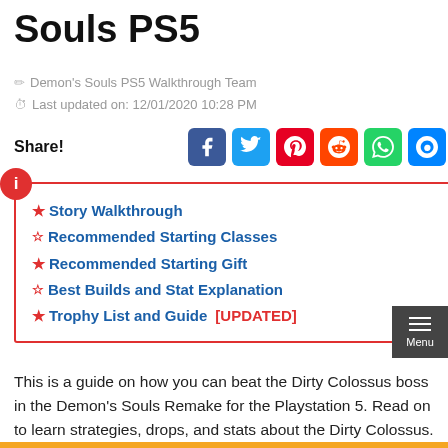Souls PS5
Demon's Souls PS5 Walkthrough Team
Last updated on: 12/01/2020 10:28 PM
Share!
★ Story Walkthrough
☆ Recommended Starting Classes
★ Recommended Starting Gift
☆ Best Builds and Stat Explanation
★ Trophy List and Guide [UPDATED]
This is a guide on how you can beat the Dirty Colossus boss in the Demon's Souls Remake for the Playstation 5. Read on to learn strategies, drops, and stats about the Dirty Colossus.